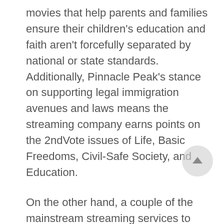movies that help parents and families ensure their children's education and faith aren't forcefully separated by national or state standards. Additionally, Pinnacle Peak's stance on supporting legal immigration avenues and laws means the streaming company earns points on the 2ndVote issues of Life, Basic Freedoms, Civil-Safe Society, and Education.
On the other hand, a couple of the mainstream streaming services to avoid include Netflix (2.28) and Hulu (Comcast – 1.33). Not only do both of these companies score poorly on the